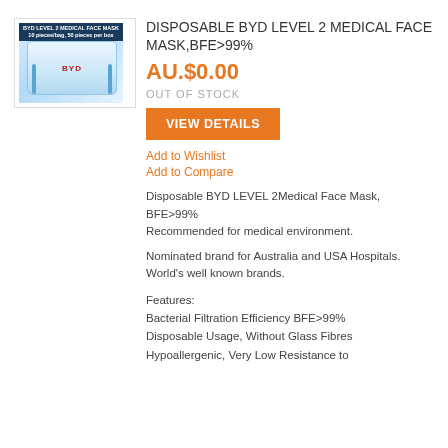[Figure (photo): Product image of BYD Level 2 Medical Face Mask box — blue box with mask visible, label reads '10 pieces/bag, 50 pieces per box']
DISPOSABLE BYD LEVEL 2 MEDICAL FACE MASK,BFE>99%
AU.$0.00
OUT OF STOCK
VIEW DETAILS
Add to Wishlist
Add to Compare
Disposable BYD LEVEL 2Medical Face Mask, BFE>99%
Recommended for medical environment.
Nominated brand for Australia and USA Hospitals.
World's well known brands.
Features:
Bacterial Filtration Efficiency BFE>99%
Disposable Usage, Without Glass Fibres
Hypoallergenic, Very Low Resistance to